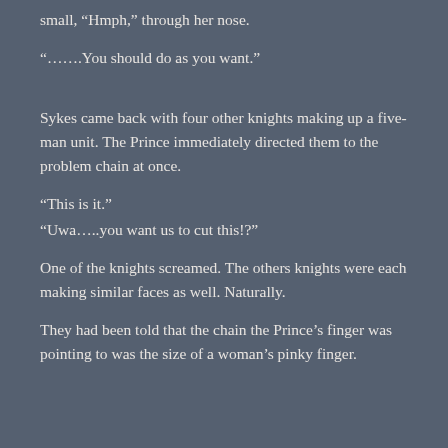small, “Hmph,” through her nose.
“…….You should do as you want.”
Sykes came back with four other knights making up a five-man unit. The Prince immediately directed them to the problem chain at once.
“This is it.”
“Uwa…..you want us to cut this!?”
One of the knights screamed. The others knights were each making similar faces as well. Naturally.
They had been told that the chain the Prince’s finger was pointing to was the size of a woman’s pinky finger.